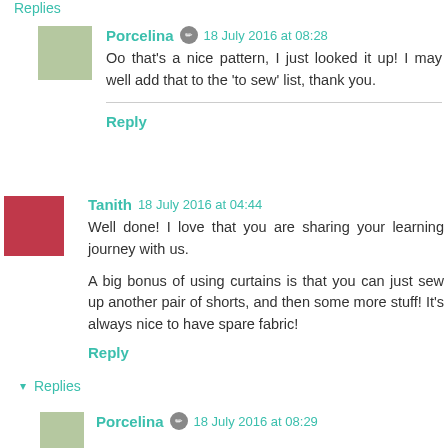Replies
Porcelina  18 July 2016 at 08:28
Oo that's a nice pattern, I just looked it up! I may well add that to the 'to sew' list, thank you.
Reply
Tanith  18 July 2016 at 04:44
Well done! I love that you are sharing your learning journey with us.
A big bonus of using curtains is that you can just sew up another pair of shorts, and then some more stuff! It's always nice to have spare fabric!
Reply
Replies
Porcelina  18 July 2016 at 08:29